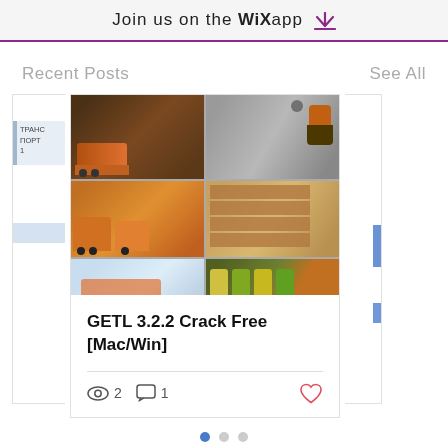Join us on the WiX app ⬇
Recent Posts
See All
[Figure (photo): Photo collage showing logistics/trucking scenes: orange heavy trucks, a worker in reflective vest crouching, stacked wooden crates/pallets, and industrial barrels/drums.]
GETL 3.2.2 Crack Free [Mac/Win]
2 views  1 comment  1 like